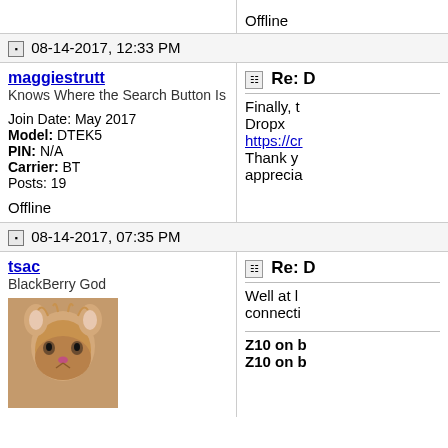Offline
08-14-2017, 12:33 PM
maggiestrutt
Knows Where the Search Button Is
Join Date: May 2017
Model: DTEK5
PIN: N/A
Carrier: BT
Posts: 19
Offline
Re: D
Finally, t Dropbox https://cr Thank y apprecia
08-14-2017, 07:35 PM
tsac
BlackBerry God
Re: D
Well at l connecti
Z10 on b
Z10 on b